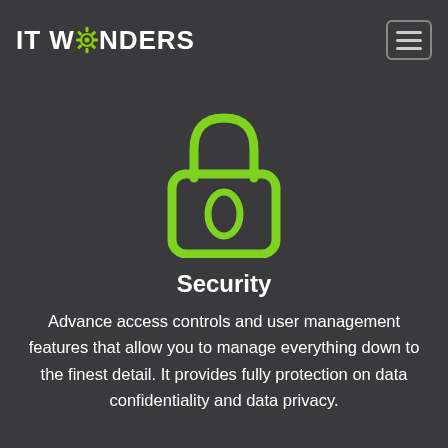inevitably happen from time to time.
[Figure (logo): IT Wonders logo with gear icon replacing the O, white text on dark background, hamburger menu icon top right]
[Figure (illustration): Green outline padlock icon with a keyhole (oval shape) on dark background, centered on page]
Security
Advance access controls and user management features that allow you to manage everything down to the finest detail. It provides fully protection on data confidentiality and data privacy.